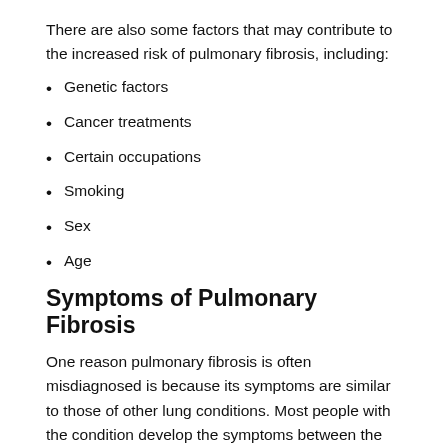There are also some factors that may contribute to the increased risk of pulmonary fibrosis, including:
Genetic factors
Cancer treatments
Certain occupations
Smoking
Sex
Age
Symptoms of Pulmonary Fibrosis
One reason pulmonary fibrosis is often misdiagnosed is because its symptoms are similar to those of other lung conditions. Most people with the condition develop the symptoms between the ages of 50 and 70 years old. If you